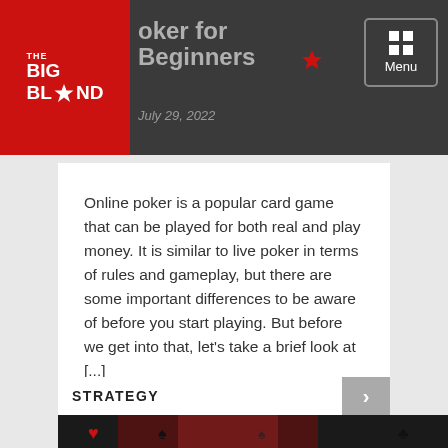The Big Blind — Poker for Beginners
Poker for Beginners
July 29, 2022
Online poker is a popular card game that can be played for both real and play money. It is similar to live poker in terms of rules and gameplay, but there are some important differences to be aware of before you start playing. But before we get into that, let's take a brief look at [...]
STRATEGY
[Figure (photo): Dark atmospheric image with playing card suit symbols (hearts, spades, clubs) and a blurred red and black background, associated with poker/gambling content]